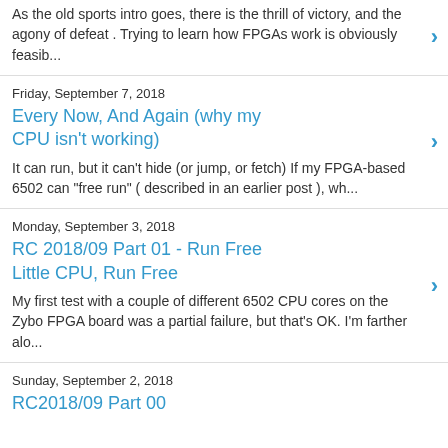As the old sports intro goes, there is the thrill of victory, and the agony of defeat . Trying to learn how FPGAs work is obviously feasib...
Friday, September 7, 2018
Every Now, And Again (why my CPU isn't working)
It can run, but it can't hide (or jump, or fetch) If my FPGA-based 6502 can "free run" ( described in an earlier post ), wh...
Monday, September 3, 2018
RC 2018/09 Part 01 - Run Free Little CPU, Run Free
My first test with a couple of different 6502 CPU cores on the Zybo FPGA board was a partial failure, but that's OK. I'm farther alo...
Sunday, September 2, 2018
RC2018/09 Part 00